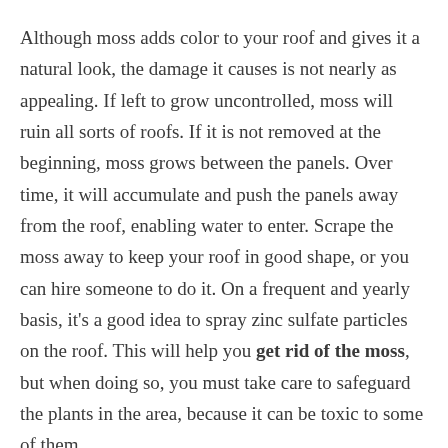Although moss adds color to your roof and gives it a natural look, the damage it causes is not nearly as appealing. If left to grow uncontrolled, moss will ruin all sorts of roofs. If it is not removed at the beginning, moss grows between the panels. Over time, it will accumulate and push the panels away from the roof, enabling water to enter. Scrape the moss away to keep your roof in good shape, or you can hire someone to do it. On a frequent and yearly basis, it's a good idea to spray zinc sulfate particles on the roof. This will help you get rid of the moss, but when doing so, you must take care to safeguard the plants in the area, because it can be toxic to some of them.
Nobody likes to be left with the idea of having to replace their roof. While every homeowner must, sadly, face this fate,